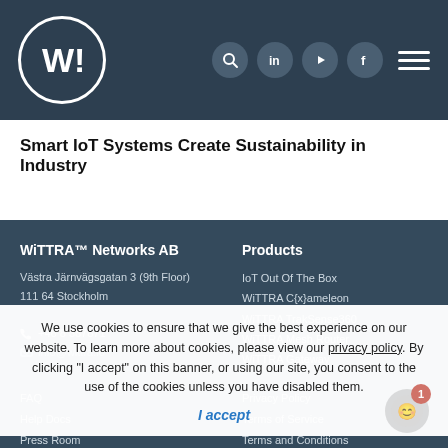[Figure (logo): WiTTRA logo: white circle border with stylized W! icon inside, on dark navy background header with search, LinkedIn, YouTube, Facebook icons and hamburger menu]
Smart IoT Systems Create Sustainability in Industry
WiTTRA™ Networks AB
Västra Järnvägsgatan 3 (9th Floor)
111 64 Stockholm
+46 8 387871
info@wittra.io
Products
IoT Out Of The Box
WiTTRA C{x}ameleon
WiTTRA TrakSense360
WiTTRA Mesh Router
WiTTRA Gateway
FAQ
Help Docs
Press Room
Privacy Policy
Terms of Service
Terms and Conditions
We use cookies to ensure that we give the best experience on our website. To learn more about cookies, please view our privacy policy. By clicking "I accept" on this banner, or using our site, you consent to the use of the cookies unless you have disabled them.
I accept